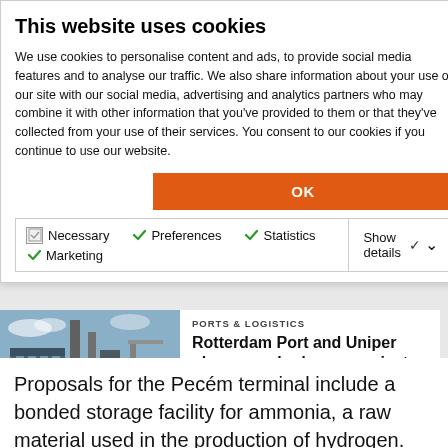This website uses cookies
We use cookies to personalise content and ads, to provide social media features and to analyse our traffic. We also share information about your use of our site with our social media, advertising and analytics partners who may combine it with other information that you've provided to them or that they've collected from your use of their services. You consent to our cookies if you continue to use our website.
OK
Necessary  Preferences  Statistics  Marketing  Show details
PORTS & LOGISTICS
Rotterdam Port and Uniper plan green hydrogen project
about 1 year ago
[Figure (photo): Aerial view of an industrial power plant or port facility with large buildings, smokestacks, and industrial infrastructure near water]
Proposals for the Pecém terminal include a bonded storage facility for ammonia, a raw material used in the production of hydrogen.